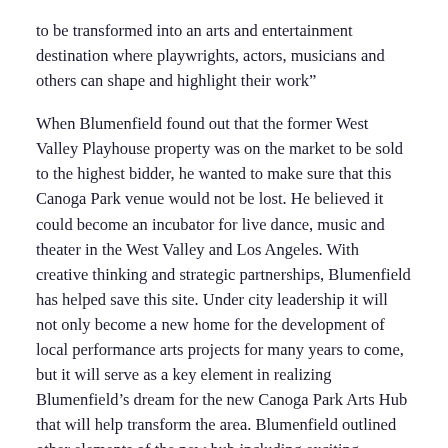to be transformed into an arts and entertainment destination where playwrights, actors, musicians and others can shape and highlight their work”
When Blumenfield found out that the former West Valley Playhouse property was on the market to be sold to the highest bidder, he wanted to make sure that this Canoga Park venue would not be lost. He believed it could become an incubator for live dance, music and theater in the West Valley and Los Angeles. With creative thinking and strategic partnerships, Blumenfield has helped save this site. Under city leadership it will not only become a new home for the development of local performance arts projects for many years to come, but it will serve as a key element in realizing Blumenfield’s dream for the new Canoga Park Arts Hub that will help transform the area. Blumenfield outlined other elements of the new hub including exciting upgrades to the nearby Madrid Theater.
located at 7248 Canoga north Ave in Canoga Park, theoutil